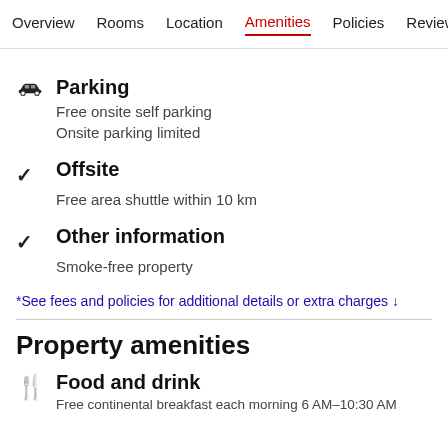Overview  Rooms  Location  Amenities  Policies  Reviews
Parking
Free onsite self parking
Onsite parking limited
Offsite
Free area shuttle within 10 km
Other information
Smoke-free property
*See fees and policies for additional details or extra charges ↓
Property amenities
Food and drink
Free continental breakfast each morning 6 AM–10:30 AM